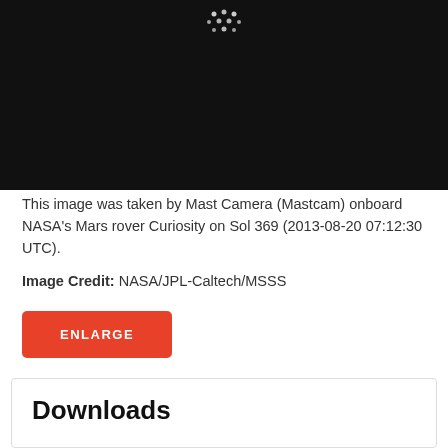[Figure (photo): Dark space image showing a small cluster of bright dots/stars against a black background, taken by Mastcam on NASA's Mars rover Curiosity]
This image was taken by Mast Camera (Mastcam) onboard NASA's Mars rover Curiosity on Sol 369 (2013-08-20 07:12:30 UTC).
Image Credit: NASA/JPL-Caltech/MSSS
ENLARGE
Downloads